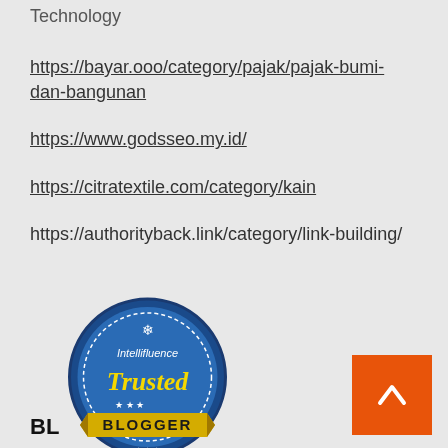Technology
https://bayar.ooo/category/pajak/pajak-bumi-dan-bangunan
https://www.godsseo.my.id/
https://citratextile.com/category/kain
https://authorityback.link/category/link-building/
[Figure (logo): Intellifluence Trusted Blogger badge - circular blue badge with yellow ribbon banner at bottom]
BL